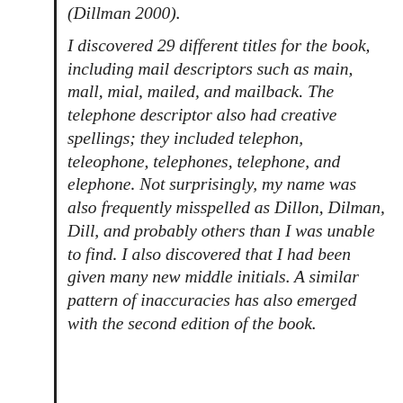(Dillman 2000).
I discovered 29 different titles for the book, including mail descriptors such as main, mall, mial, mailed, and mailback. The telephone descriptor also had creative spellings; they included telephon, teleophone, telephones, telephone, and elephone. Not surprisingly, my name was also frequently misspelled as Dillon, Dilman, Dill, and probably others than I was unable to find. I also discovered that I had been given many new middle initials. A similar pattern of inaccuracies has also emerged with the second edition of the book.